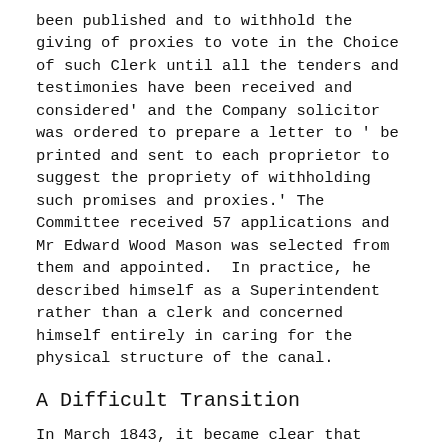been published and to withhold the giving of proxies to vote in the Choice of such Clerk until all the tenders and testimonies have been received and considered' and the Company solicitor was ordered to prepare a letter to ' be printed and sent to each proprietor to suggest the propriety of withholding such promises and proxies.' The Committee received 57 applications and Mr Edward Wood Mason was selected from them and appointed.  In practice, he described himself as a Superintendent rather than a clerk and concerned himself entirely in caring for the physical structure of the canal.
A Difficult Transition
In March 1843, it became clear that George Hawker's health was failing fast: Mr Cosham, a member of the Committee, was deputed to take charge of the keys and books of the Company and